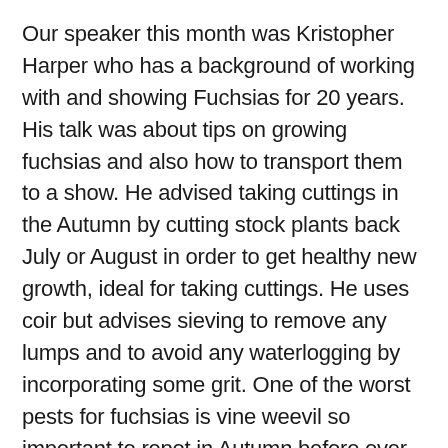Our speaker this month was Kristopher Harper who has a background of working with and showing Fuchsias for 20 years. His talk was about tips on growing fuchsias and also how to transport them to a show. He advised taking cuttings in the Autumn by cutting stock plants back July or August in order to get healthy new growth, ideal for taking cuttings. He uses coir but advises sieving to remove any lumps and to avoid any waterlogging by incorporating some grit. One of the worst pests for fuchsias is vine weevil so important to repot in Autumn before over wintering in order to remove any vine weevil, there are also biological treatments on the market.